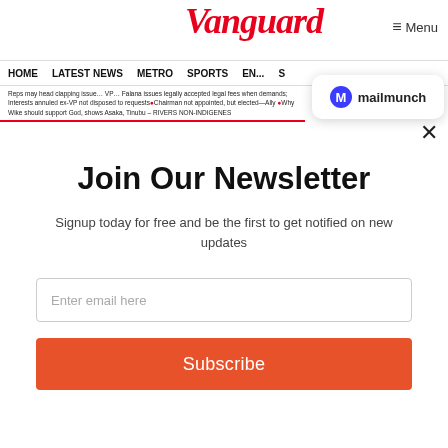Vanguard
Menu
HOME  LATEST NEWS  METRO  SPORTS  EN...  S
Reps may head clapping issue... VP... Falana issues legally accepted legal fees when demands; Interests annuled ex-VP not disposed to requests ● Chairman not appointed, but elected—Ally ● Why Wike should support God, shows Asaka, Tinubu – RIVERS NON-INDIGENES
[Figure (logo): Mailmunch logo badge with blue M icon and text mailmunch]
Join Our Newsletter
Signup today for free and be the first to get notified on new updates
Enter email here
Subscribe